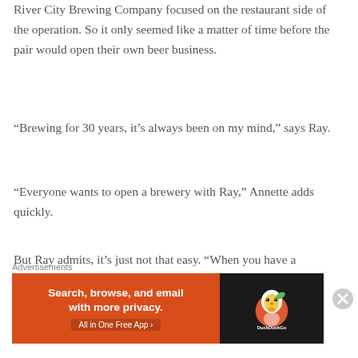River City Brewing Company focused on the restaurant side of the operation. So it only seemed like a matter of time before the pair would open their own beer business.
“Brewing for 30 years, it’s always been on my mind,” says Ray.
“Everyone wants to open a brewery with Ray,” Annette adds quickly.
But Ray admits, it’s just not that easy. “When you have a comfortable day job, it’s kind of hard to ...
Advertisements
[Figure (other): DuckDuckGo advertisement banner: 'Search, browse, and email with more privacy. All in One Free App' on orange background with DuckDuckGo logo on dark background.]